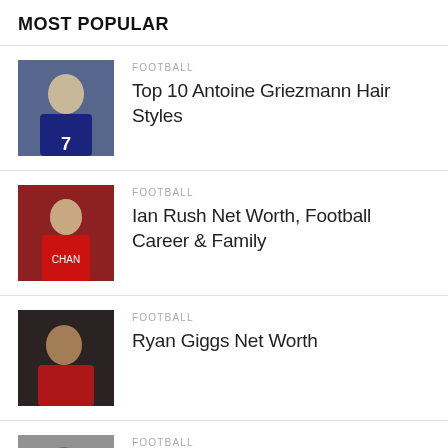MOST POPULAR
Top 10 Antoine Griezmann Hair Styles
Ian Rush Net Worth, Football Career & Family
Ryan Giggs Net Worth
Didier Drogba Wife, Children & Family